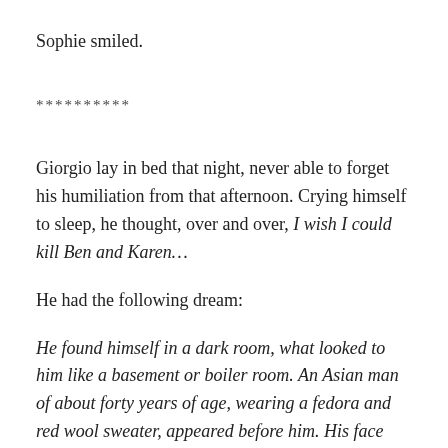Sophie smiled.
**********
Giorgio lay in bed that night, never able to forget his humiliation from that afternoon. Crying himself to sleep, he thought, over and over, I wish I could kill Ben and Karen…
He had the following dream:
He found himself in a dark room, what looked to him like a basement or boiler room. An Asian man of about forty years of age, wearing a fedora and red wool sweater, appeared before him. His face was glowing gold. He reminded Giorgio of Freddy Krueger.